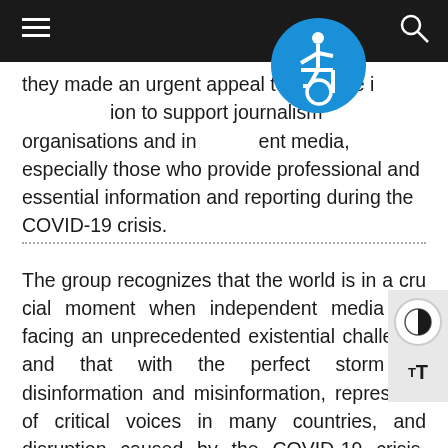they made an urgent appeal to all those in a position to support journalism organisations and independent media, especially those who provide professional and essential information and reporting during the COVID-19 crisis.
The group recognizes that the world is in a crucial moment when independent media are facing an unprecedented existential challenge and that with the perfect storm of disinformation and misinformation, repression of critical voices in many countries, and disruption caused by the COVID-19 crisis, journalism and news media are facing a dire situation. Revenues for these institutions, they pointed out, are collapsing and funding is decreasing